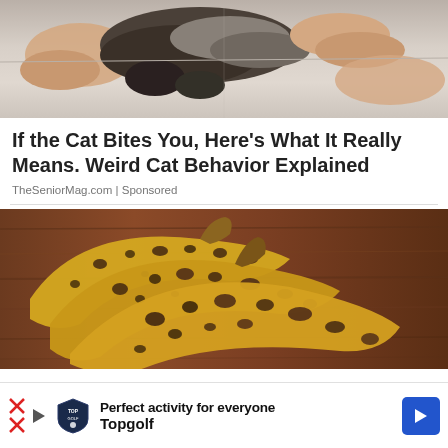[Figure (photo): Close-up photo of a cat being held by human hands, showing cat paws and human bare feet on a light tile floor]
If the Cat Bites You, Here's What It Really Means. Weird Cat Behavior Explained
TheSeniorMag.com | Sponsored
[Figure (photo): Photo of three overripe bananas with dark spots on a wooden surface]
[Figure (screenshot): Advertisement bar: Topgolf logo with text 'Perfect activity for everyone' and 'Topgolf', blue arrow button on right, red X on left]